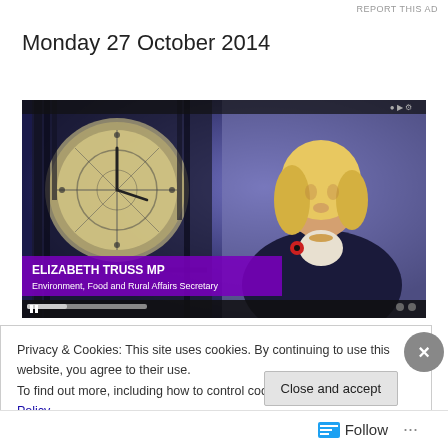REPORT THIS AD
Monday 27 October 2014
[Figure (screenshot): Video screenshot of Elizabeth Truss MP, Environment Food and Rural Affairs Secretary, appearing on television with Big Ben clock in the background. A purple lower-third graphic reads: ELIZABETH TRUSS MP / Environment, Food and Rural Affairs Secretary.]
Privacy & Cookies: This site uses cookies. By continuing to use this website, you agree to their use.
To find out more, including how to control cookies, see here: Cookie Policy
Close and accept
Follow